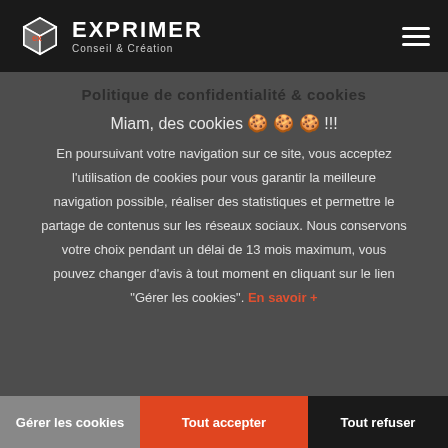EXPRIMER Conseil & Création
Politique de confidentialité & cookies
Miam, des cookies 🍪🍪🍪 !!!
En poursuivant votre navigation sur ce site, vous acceptez l'utilisation de cookies pour vous garantir la meilleure navigation possible, réaliser des statistiques et permettre le partage de contenus sur les réseaux sociaux. Nous conservons votre choix pendant un délai de 13 mois maximum, vous pouvez changer d'avis à tout moment en cliquant sur le lien "Gérer les cookies". En savoir +
Gérer les cookies | Tout accepter | Tout refuser